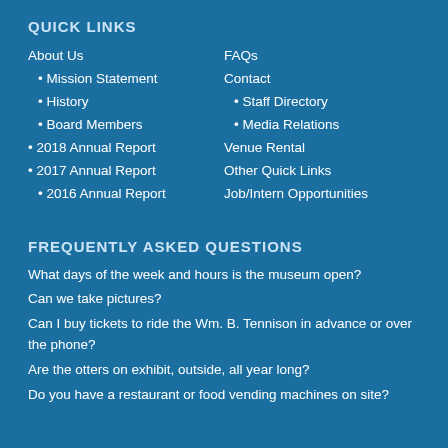QUICK LINKS
About Us
• Mission Statement
• History
• Board Members
• 2018 Annual Report
• 2017 Annual Report
• 2016 Annual Report
FAQs
Contact
• Staff Directory
• Media Relations
Venue Rental
Other Quick Links
Job/Intern Opportunities
FREQUENTLY ASKED QUESTIONS
What days of the week and hours is the museum open?
Can we take pictures?
Can I buy tickets to ride the Wm. B. Tennison in advance or over the phone?
Are the otters on exhibit, outside, all year long?
Do you have a restaurant or food vending machines on site?